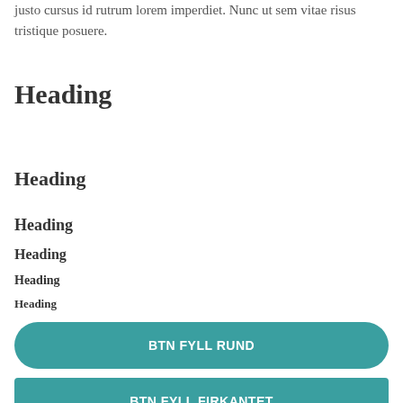justo cursus id rutrum lorem imperdiet. Nunc ut sem vitae risus tristique posuere.
Heading
Heading
Heading
Heading
Heading
Heading
BTN FYLL RUND
BTN FYLL FIRKANTET